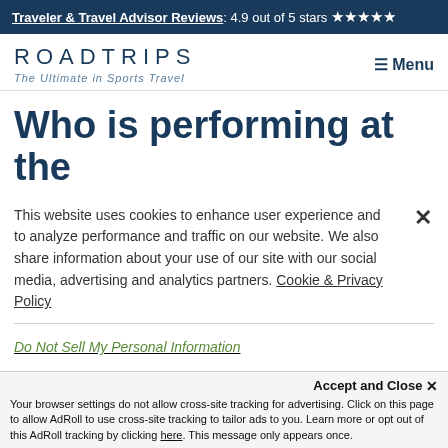Traveler & Travel Advisor Reviews: 4.9 out of 5 stars ★★★★★
ROADTRIPS
The Ultimate in Sports Travel
Who is performing at the
This website uses cookies to enhance user experience and to analyze performance and traffic on our website. We also share information about your use of our site with our social media, advertising and analytics partners. Cookie & Privacy Policy
Do Not Sell My Personal Information
Accept and Close ✕
Your browser settings do not allow cross-site tracking for advertising. Click on this page to allow AdRoll to use cross-site tracking to tailor ads to you. Learn more or opt out of this AdRoll tracking by clicking here. This message only appears once.